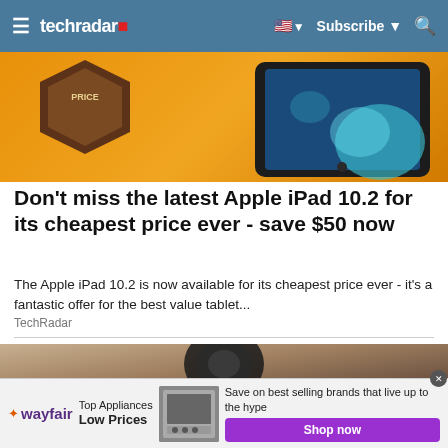techradar — Subscribe
[Figure (photo): Article hero image: orange background with a hexagonal badge and Apple iPad 10.2 device]
Don't miss the latest Apple iPad 10.2 for its cheapest price ever - save $50 now
The Apple iPad 10.2 is now available for its cheapest price ever - it's a fantastic offer for the best value tablet...
TechRadar
[Figure (photo): Second article hero image showing camera equipment against stone wall background]
[Figure (photo): Wayfair advertisement banner with stove/appliance image and Shop now button]